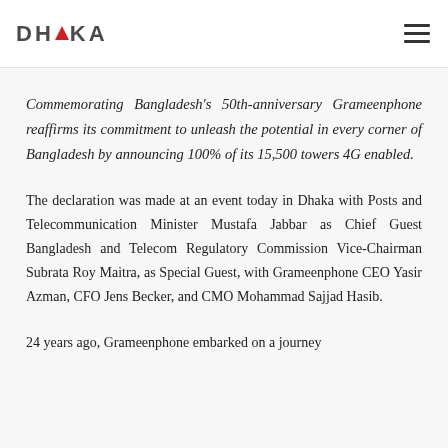DHAKA
Commemorating Bangladesh's 50th-anniversary Grameenphone reaffirms its commitment to unleash the potential in every corner of Bangladesh by announcing 100% of its 15,500 towers 4G enabled.
The declaration was made at an event today in Dhaka with Posts and Telecommunication Minister Mustafa Jabbar as Chief Guest Bangladesh and Telecom Regulatory Commission Vice-Chairman Subrata Roy Maitra, as Special Guest, with Grameenphone CEO Yasir Azman, CFO Jens Becker, and CMO Mohammad Sajjad Hasib.
24 years ago, Grameenphone embarked on a journey